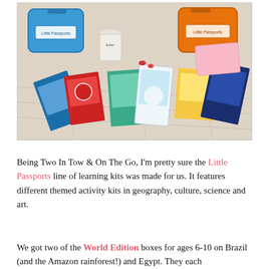[Figure (photo): Photo of Little Passports educational kit contents spread out on a wooden floor, including blue and orange suitcase boxes, books, activity cards, and a small drawstring bag labeled 'fishin']
Being Two In Tow & On The Go, I'm pretty sure the Little Passports line of learning kits was made for us. It features different themed activity kits in geography, culture, science and art.
We got two of the World Edition boxes for ages 6-10 on Brazil (and the Amazon rainforest!) and Egypt. They each